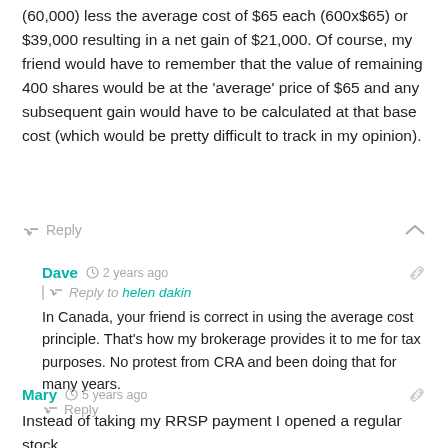(60,000) less the average cost of $65 each (600x$65) or $39,000 resulting in a net gain of $21,000. Of course, my friend would have to remember that the value of remaining 400 shares would be at the 'average' price of $65 and any subsequent gain would have to be calculated at that base cost (which would be pretty difficult to track in my opinion).
Reply
Dave · 2 years ago · Reply to helen dakin · In Canada, your friend is correct in using the average cost principle. That's how my brokerage provides it to me for tax purposes. No protest from CRA and been doing that for many years.
Reply
Mary · 5 years ago · Instead of taking my RRSP payment I opened a regular stock